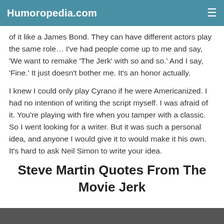Humoropedia.com
of it like a James Bond. They can have different actors play the same role… I've had people come up to me and say, 'We want to remake 'The Jerk' with so and so.' And I say, 'Fine.' It just doesn't bother me. It's an honor actually.
I knew I could only play Cyrano if he were Americanized. I had no intention of writing the script myself. I was afraid of it. You're playing with fire when you tamper with a classic. So I went looking for a writer. But it was such a personal idea, and anyone I would give it to would make it his own. It's hard to ask Neil Simon to write your idea.
Steve Martin Quotes From The Movie Jerk
[Figure (photo): Bottom strip showing a partial image, appears to be a dark/black photo strip at the bottom of the page]